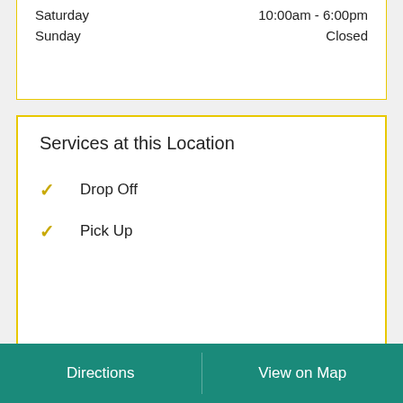| Day | Hours |
| --- | --- |
| Saturday | 10:00am - 6:00pm |
| Sunday | Closed |
Services at this Location
Drop Off
Pick Up
Additional UPS Locations Nearby
The UPS Store®
13.6 mi
Directions | View on Map